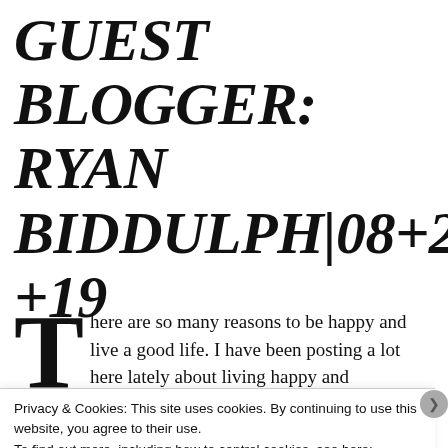GUEST BLOGGER: RYAN BIDDULPH|08+28+19
There are so many reasons to be happy and live a good life. I have been posting a lot here lately about living happy and
Privacy & Cookies: This site uses cookies. By continuing to use this website, you agree to their use.
To find out more, including how to control cookies, see here: Cookie Policy